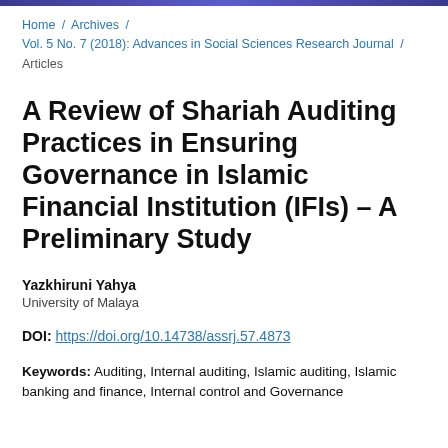Home / Archives / Vol. 5 No. 7 (2018): Advances in Social Sciences Research Journal / Articles
A Review of Shariah Auditing Practices in Ensuring Governance in Islamic Financial Institution (IFIs) – A Preliminary Study
Yazkhiruni Yahya
University of Malaya
DOI: https://doi.org/10.14738/assrj.57.4873
Keywords: Auditing, Internal auditing, Islamic auditing, Islamic banking and finance, Internal control and Governance